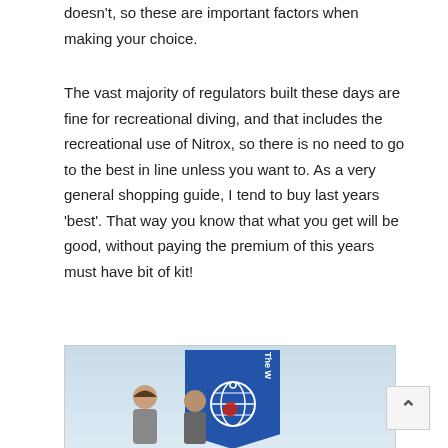doesn't, so these are important factors when making your choice.
The vast majority of regulators built these days are fine for recreational diving, and that includes the recreational use of Nitrox, so there is no need to go to the best in line unless you want to. As a very general shopping guide, I tend to buy last years 'best'. That way you know that what you get will be good, without paying the premium of this years must have bit of kit!
[Figure (photo): Photo of people standing outdoors in front of a blue banner/flag with a globe logo, likely a diving organization flag. Sky visible in background.]